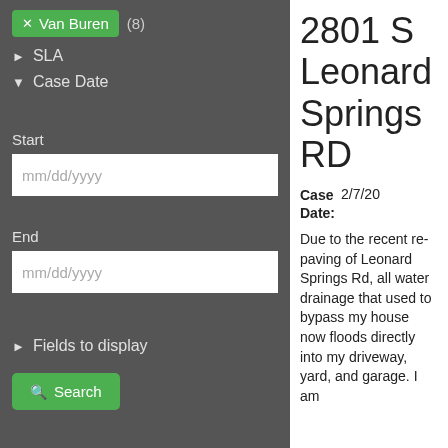Van Buren (8)
SLA
Case Date
Start
mm/dd/yyyy
End
mm/dd/yyyy
Fields to display
Search
2801 S Leonard Springs RD
Case Date: 2/7/20
Due to the recent re-paving of Leonard Springs Rd, all water drainage that used to bypass my house now floods directly into my driveway, yard, and garage. I am